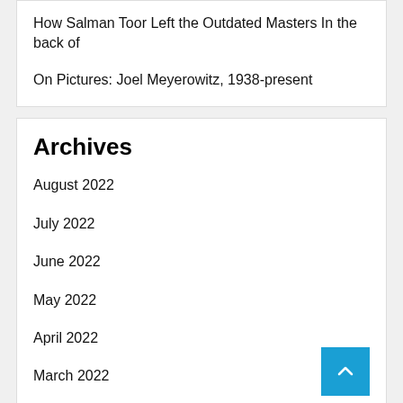How Salman Toor Left the Outdated Masters In the back of
On Pictures: Joel Meyerowitz, 1938-present
Archives
August 2022
July 2022
June 2022
May 2022
April 2022
March 2022